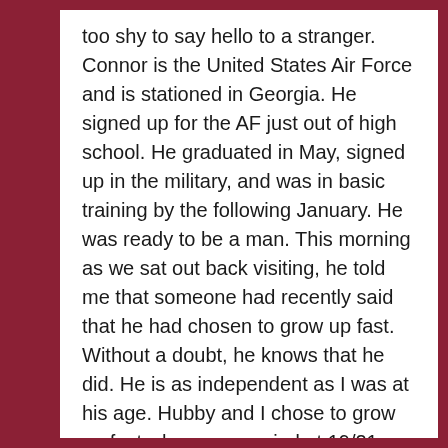too shy to say hello to a stranger. Connor is the United States Air Force and is stationed in Georgia. He signed up for the AF just out of high school. He graduated in May, signed up in the military, and was in basic training by the following January. He was ready to be a man. This morning as we sat out back visiting, he told me that someone had recently said that he had chosen to grow up fast. Without a doubt, he knows that he did. He is as independent as I was at his age. Hubby and I chose to grow up fast when we married at 19/21 and had a baby two years later, that was tough. Without a doubt in my mind however, it was a lot harder to grow up in the military!
Connor just re-signed for another year. I figured